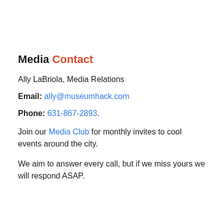Media Contact
Ally LaBriola, Media Relations
Email: ally@museumhack.com
Phone: 631-867-2893.
Join our Media Club for monthly invites to cool events around the city.
We aim to answer every call, but if we miss yours we will respond ASAP.